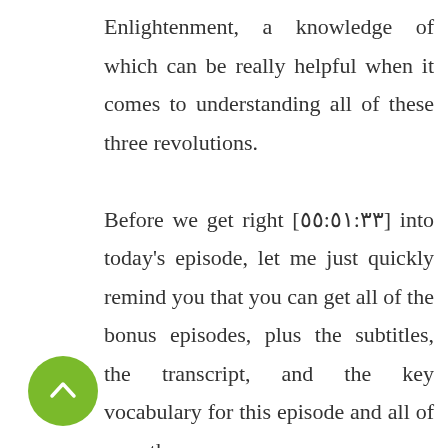Enlightenment, a knowledge of which can be really helpful when it comes to understanding all of these three revolutions. Before we get right [٥٥:٥١:٣٣] into today's episode, let me just quickly remind you that you can get all of the bonus episodes, plus the subtitles, the transcript, and the key vocabulary for this episode and all of our other ones
[Figure (other): Green circular button with an upward-pointing chevron arrow icon]